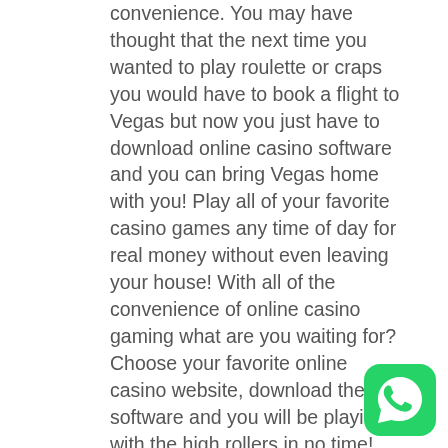convenience. You may have thought that the next time you wanted to play roulette or craps you would have to book a flight to Vegas but now you just have to download online casino software and you can bring Vegas home with you! Play all of your favorite casino games any time of day for real money without even leaving your house! With all of the convenience of online casino gaming what are you waiting for? Choose your favorite online casino website, download their software and you will be playing with the high rollers in no time!
[Figure (logo): WhatsApp logo icon — green rounded square with white phone handset in speech bubble]